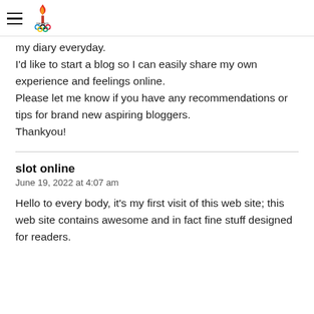Bahrain Olympic Committee
my diary everyday.
I'd like to start a blog so I can easily share my own experience and feelings online.
Please let me know if you have any recommendations or tips for brand new aspiring bloggers.
Thankyou!
slot online
June 19, 2022 at 4:07 am
Hello to every body, it's my first visit of this web site; this web site contains awesome and in fact fine stuff designed for readers.